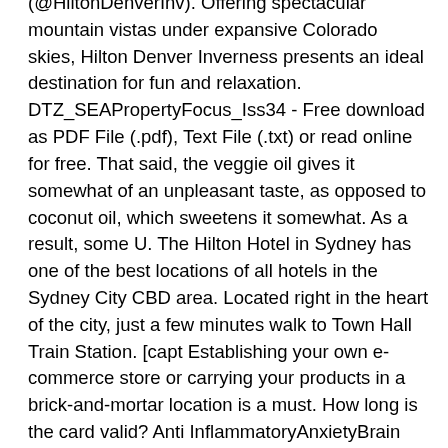(@HiltonDenverInv). Offering spectacular mountain vistas under expansive Colorado skies, Hilton Denver Inverness presents an ideal destination for fun and relaxation. DTZ_SEAPropertyFocus_Iss34 - Free download as PDF File (.pdf), Text File (.txt) or read online for free. That said, the veggie oil gives it somewhat of an unpleasant taste, as opposed to coconut oil, which sweetens it somewhat. As a result, some U. The Hilton Hotel in Sydney has one of the best locations of all hotels in the Sydney City CBD area. Located right in the heart of the city, just a few minutes walk to Town Hall Train Station. [capt Establishing your own e-commerce store or carrying your products in a brick-and-mortar location is a must. How long is the card valid? Anti InflammatoryAnxietyBrain EnhancementBrain Healthcannabidiolcannabiscbdcbd benefitscbd for salecbd hemp oilcbd isolatecbd oilcbd oil cancercbd richcbd side effectsDisordersepilepsyHemp OilJoint painNeurologicalPain Reliefpure cbd…